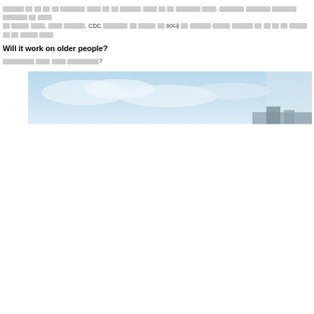[Redacted Korean/Asian text] CDC [redacted] 90대 [redacted]
Will it work on older people?
[Redacted Korean/Asian text]?
[Figure (photo): A wide horizontal photograph showing a light blue sky with clouds and a partial view of what appears to be a cityscape or building silhouette at the bottom right.]